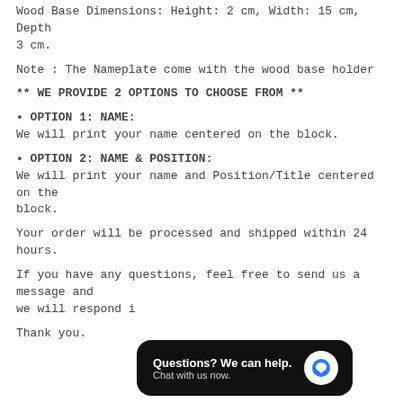Wood Base Dimensions: Height: 2 cm, Width: 15 cm, Depth 3 cm.
Note : The Nameplate come with the wood base holder
** WE PROVIDE 2 OPTIONS TO CHOOSE FROM **
• OPTION 1: NAME:
We will print your name centered on the block.
• OPTION 2: NAME & POSITION:
We will print your name and Position/Title centered on the block.
Your order will be processed and shipped within 24 hours.
If you have any questions, feel free to send us a message and we will respond i…
Thank you.
[Figure (screenshot): Chat widget overlay: 'Questions? We can help. Chat with us now.' with blue chat bubble icon on dark background.]